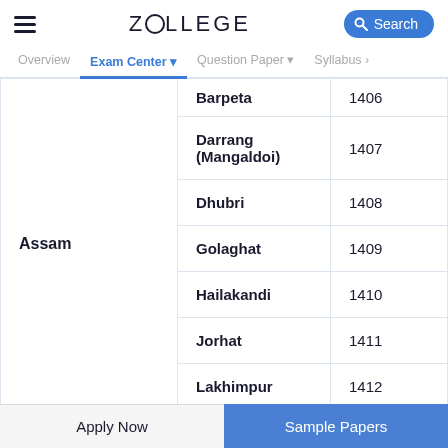ZOLLEGE — Search
Overview | Exam Center ▼ | Question Paper ▼ | Syllabus
| State | City | Code |
| --- | --- | --- |
| Assam | Barpeta | 1406 |
| Assam | Darrang (Mangaldoi) | 1407 |
| Assam | Dhubri | 1408 |
| Assam | Golaghat | 1409 |
| Assam | Hailakandi | 1410 |
| Assam | Jorhat | 1411 |
| Assam | Lakhimpur | 1412 |
Apply Now | Sample Papers